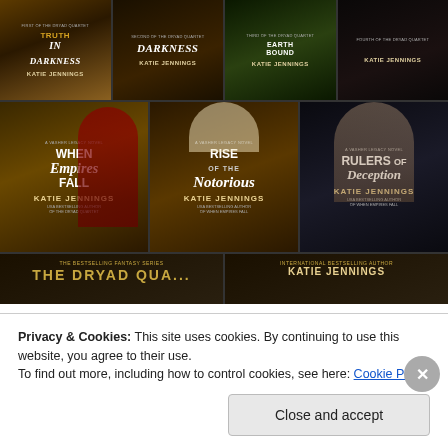[Figure (photo): Grid of book covers by Katie Jennings. Top row: 4 books from The Dryad Quartet series. Middle row: 3 books from the Vasher Legacy series - When Empires Fall, Rise of the Notorious, Rulers of Deception. Bottom row: partial view of The Dryad Quartet bestselling fantasy series banner and Katie Jennings international bestselling author banner.]
Privacy & Cookies: This site uses cookies. By continuing to use this website, you agree to their use.
To find out more, including how to control cookies, see here: Cookie Policy
Close and accept